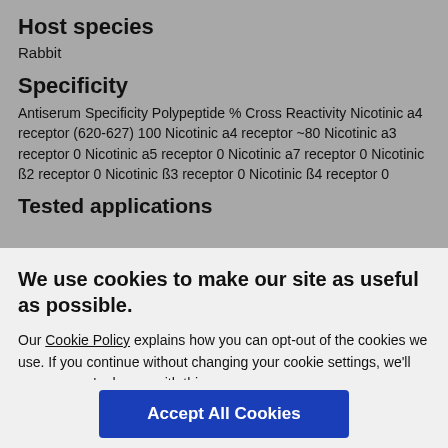Host species
Rabbit
Specificity
Antiserum Specificity Polypeptide % Cross Reactivity Nicotinic a4 receptor (620-627) 100 Nicotinic a4 receptor ~80 Nicotinic a3 receptor 0 Nicotinic a5 receptor 0 Nicotinic a7 receptor 0 Nicotinic ß2 receptor 0 Nicotinic ß3 receptor 0 Nicotinic ß4 receptor 0
Tested applications
We use cookies to make our site as useful as possible.
Our Cookie Policy explains how you can opt-out of the cookies we use. If you continue without changing your cookie settings, we'll assume you're happy with this.
Accept All Cookies